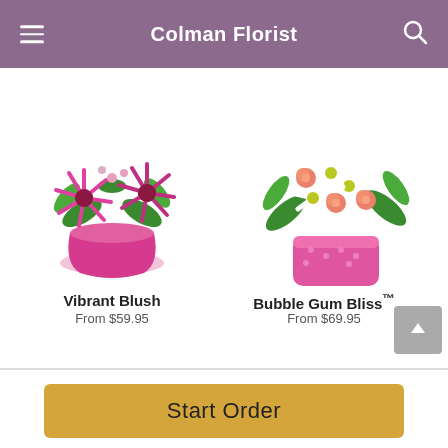Colman Florist
[Figure (photo): Pink gerbera daisy arrangement in a pink ceramic pot - Vibrant Blush]
Vibrant Blush
From $59.95
[Figure (photo): White daisies and peach roses arrangement in a pink polka-dot container - Bubble Gum Bliss™]
Bubble Gum Bliss™
From $69.95
Start Order